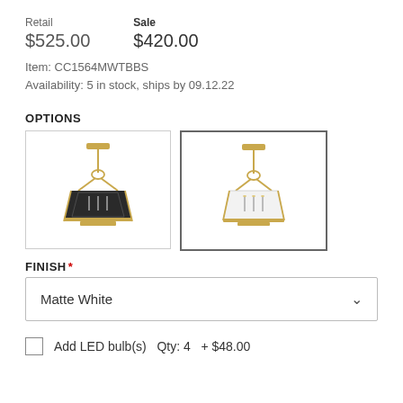Retail $525.00   Sale $420.00
Item: CC1564MWTBBS
Availability: 5 in stock, ships by 09.12.22
OPTIONS
[Figure (photo): Two pendant light fixture options: left option shows dark/black finish lantern pendant with brass chain, right option (selected, highlighted border) shows matte white finish lantern pendant with brass chain.]
FINISH *
Matte White
Add LED bulb(s)   Qty: 4   + $48.00